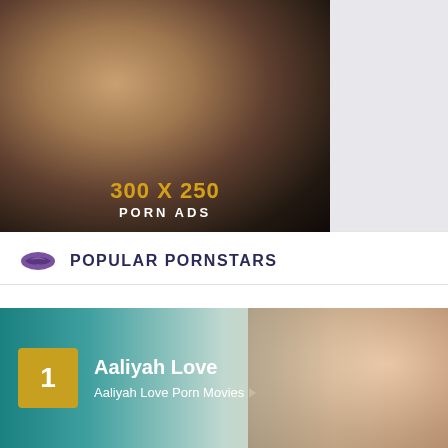[Figure (photo): Advertisement banner 300x250 porn ads with dark background showing a woman]
POPULAR PORNSTARS
[Figure (photo): Ranked entry #1 Aaliyah Love with teal/warm background photo banner]
Aaliyah Love
Aaliyah Love Porn Movies